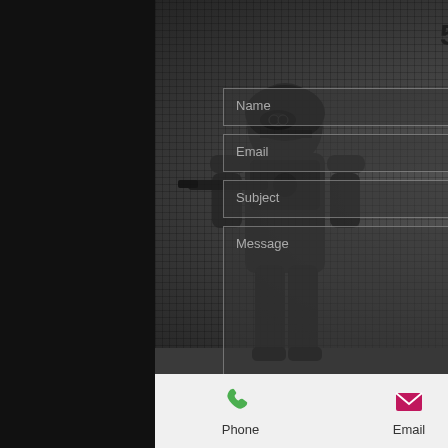5:00pm
[Figure (screenshot): Mobile app contact form with Name, Email, Subject, and Message fields overlaid on a dark background with a soldier/military person image. A red circular scroll-up button is visible at bottom right.]
Name
Email
Subject
Message
Phone  Email  Facebook  Chat